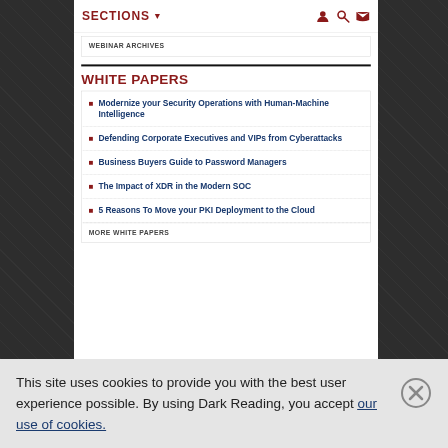SECTIONS
WEBINAR ARCHIVES
WHITE PAPERS
Modernize your Security Operations with Human-Machine Intelligence
Defending Corporate Executives and VIPs from Cyberattacks
Business Buyers Guide to Password Managers
The Impact of XDR in the Modern SOC
5 Reasons To Move your PKI Deployment to the Cloud
MORE WHITE PAPERS
This site uses cookies to provide you with the best user experience possible. By using Dark Reading, you accept our use of cookies.